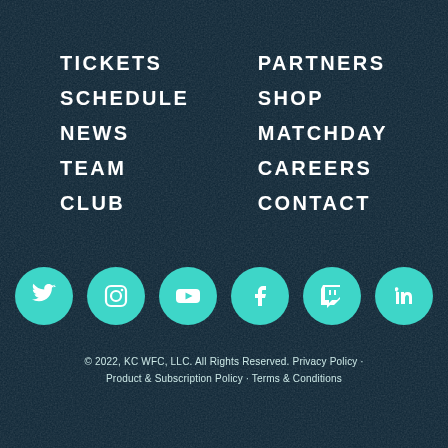TICKETS
SCHEDULE
NEWS
TEAM
CLUB
PARTNERS
SHOP
MATCHDAY
CAREERS
CONTACT
[Figure (infographic): Row of 6 social media icons (Twitter, Instagram, YouTube, Facebook, Twitch, LinkedIn) as teal circles with white icons]
© 2022, KC WFC, LLC. All Rights Reserved. Privacy Policy · Product & Subscription Policy · Terms & Conditions